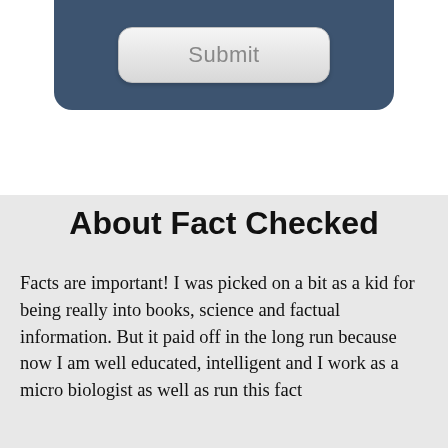[Figure (screenshot): Dark blue rounded panel with a Submit button rendered in a light gray gradient pill shape]
About Fact Checked
Facts are important! I was picked on a bit as a kid for being really into books, science and factual information. But it paid off in the long run because now I am well educated, intelligent and I work as a micro biologist as well as run this fact